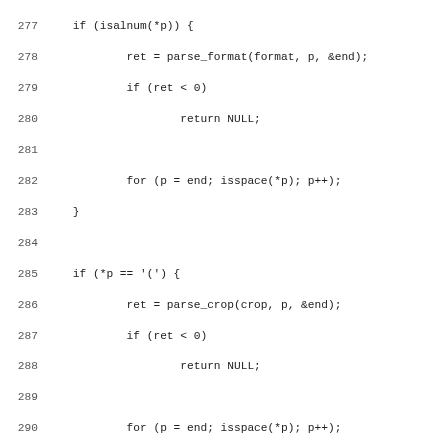Code listing lines 277-309, C source code showing parsing functions including isalnum, parse_format, parse_crop, parse_frame_interval, and set_format function signature.